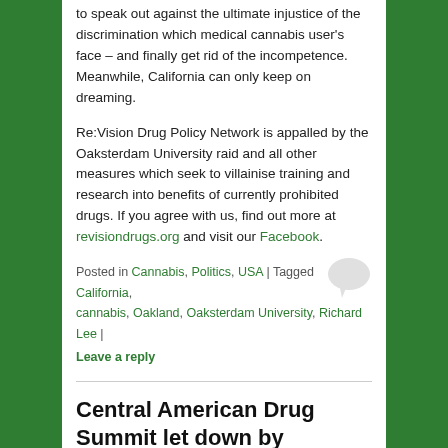to speak out against the ultimate injustice of the discrimination which medical cannabis user's face – and finally get rid of the incompetence. Meanwhile, California can only keep on dreaming.
Re:Vision Drug Policy Network is appalled by the Oaksterdam University raid and all other measures which seek to villainise training and research into benefits of currently prohibited drugs. If you agree with us, find out more at revisiondrugs.org and visit our Facebook.
Posted in Cannabis, Politics, USA | Tagged California, cannabis, Oakland, Oaksterdam University, Richard Lee | Leave a reply
Central American Drug Summit let down by three Presidents.
Posted on April 6, 2012 by liz.cabeza